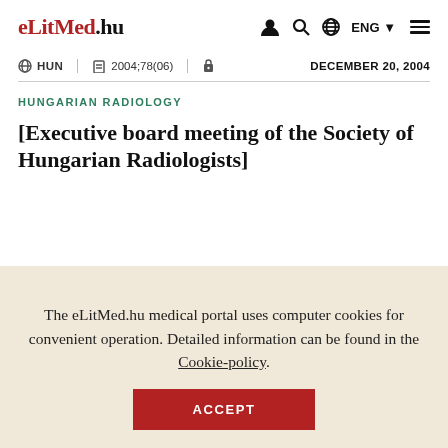eLitMed.hu — navigation bar with HUN, 2004;78(06), lock icon, DECEMBER 20, 2004
HUNGARIAN RADIOLOGY
[Executive board meeting of the Society of Hungarian Radiologists]
The eLitMed.hu medical portal uses computer cookies for convenient operation. Detailed information can be found in the Cookie-policy.
ACCEPT